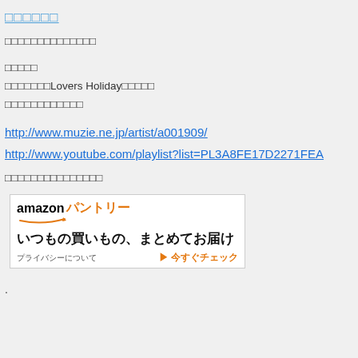□□□□□□
□□□□□□□□□□□□□□
□□□□□
□□□□□□□Lovers Holiday□□□□□
□□□□□□□□□□□□
http://www.muzie.ne.jp/artist/a001909/
http://www.youtube.com/playlist?list=PL3A8FE17D2271FEA
□□□□□□□□□□□□□□□
[Figure (other): Amazon Pantry advertisement banner: 'amazon パントリー いつもの買いもの、まとめてお届け ▶ 今すぐチェック' with privacy notice]
.